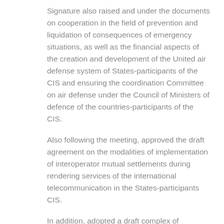Signature also raised and under the documents on cooperation in the field of prevention and liquidation of consequences of emergency situations, as well as the financial aspects of the creation and development of the United air defense system of States-participants of the CIS and ensuring the coordination Committee on air defense under the Council of Ministers of defence of the countries-participants of the CIS.
Also following the meeting, approved the draft agreement on the modalities of implementation of interoperator mutual settlements during rendering services of the international telecommunication in the States-participants CIS.
In addition, adopted a draft complex of measures for the period until 2020, aimed at developing and promoting the use of natural gas as motor fuel for vehicles.
The participating States of the CIS and began to prepare for